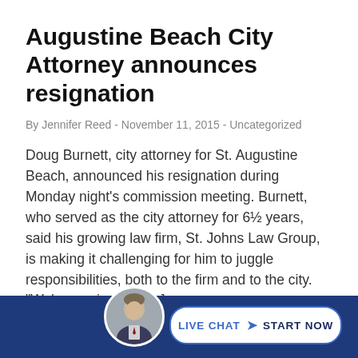Augustine Beach City Attorney announces resignation
By Jennifer Reed - November 11, 2015 - Uncategorized
Doug Burnett, city attorney for St. Augustine Beach, announced his resignation during Monday night’s commission meeting. Burnett, who served as the city attorney for 6½ years, said his growing law firm, St. Johns Law Group, is making it challenging for him to juggle responsibilities, both to the firm and to the city. “We’re moving into […]
Read more
[Figure (photo): Live chat footer bar with avatar photo of a man in a suit, and a 'LIVE CHAT > START NOW' button on a dark blue background]